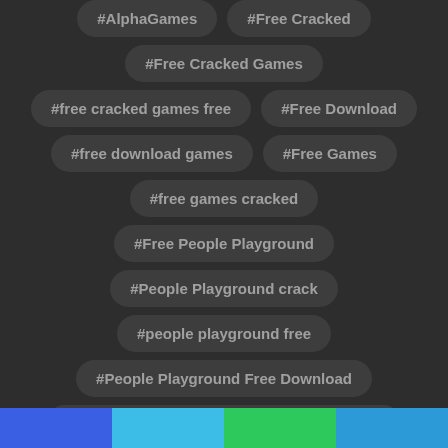#AlphaGames
#Free Cracked
#Free Cracked Games
#free cracked games free
#Free Download
#free download games
#Free Games
#free games cracked
#Free People Playground
#People Playground crack
#people playground free
#People Playground Free Download
#People Playground Free Download cracked